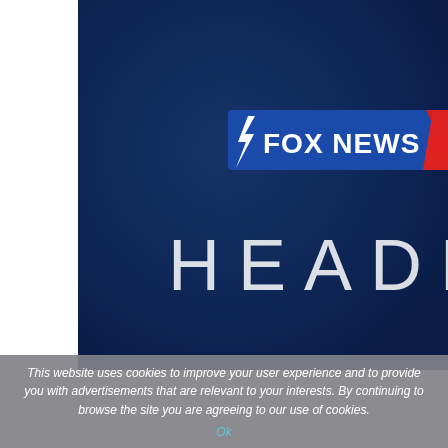[Figure (screenshot): Fox News Headlines logo on a dark blue background. The image shows the Fox News logo (lightning bolt checkmark with FOX NEWS text) and the word HEADL (part of HEADLINES) in large spaced letters below, on a deep blue gradient background.]
This website uses cookies to improve your user experience and to provide you with advertisements that are relevant to your interests. By continuing to browse the site you are agreeing to our use of cookies.
Ok